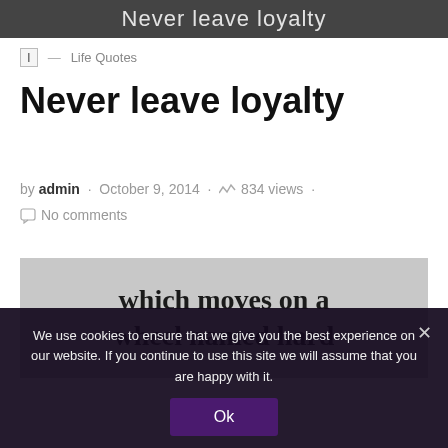[Figure (photo): Top banner image showing text 'Never leave loyalty' overlaid on a dark background image]
I — Life Quotes
Never leave loyalty
by admin · October 9, 2014 · 834 views · No comments
[Figure (photo): Image showing partial text 'which moves on a wheel named hard' in serif font on a light grayish background]
We use cookies to ensure that we give you the best experience on our website. If you continue to use this site we will assume that you are happy with it.